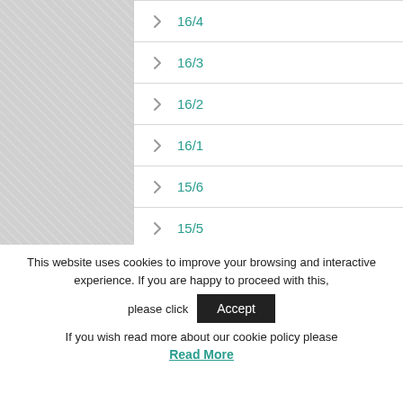16/4
16/3
16/2
16/1
15/6
15/5
15/4
This website uses cookies to improve your browsing and interactive experience. If you are happy to proceed with this, please click
Accept
If you wish read more about our cookie policy please
Read More